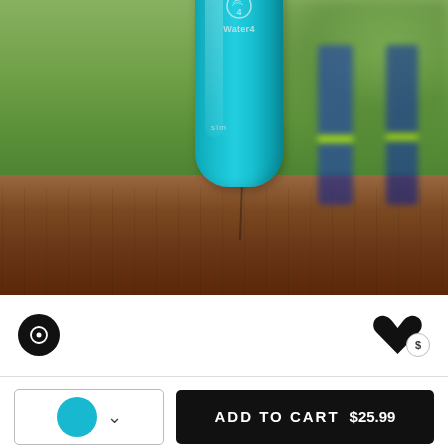[Figure (photo): A teal/turquoise Water4 branded slim water bottle sitting on a wooden stump, outdoors with green grass background. A person in blue pants with yellow reflective stripes is visible blurred in the background.]
[Figure (infographic): UI row with a black circular chat icon on the left, and a black heart icon with a dollar-sign badge on the right.]
[Figure (infographic): Add to cart UI row: color swatch selector showing teal circle with dropdown chevron, and a black Add to Cart button showing $25.99.]
ADD TO CART  $25.99